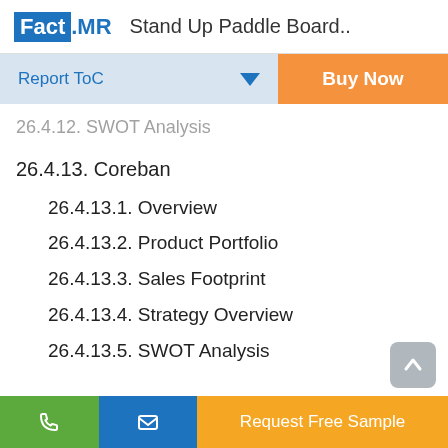Fact.MR Stand Up Paddle Board..
26.4.12. SWOT Analysis
26.4.13. Coreban
26.4.13.1. Overview
26.4.13.2. Product Portfolio
26.4.13.3. Sales Footprint
26.4.13.4. Strategy Overview
26.4.13.5. SWOT Analysis